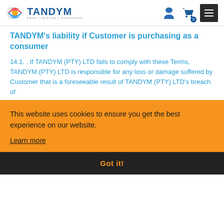[Figure (logo): TANDYM logo with colorful circular icon and tagline PRINT | DIGITAL | PACKAGING]
TANDYM's liability if Customer is purchasing as a consumer
14.1. . If TANDYM (PTY) LTD fails to comply with these Terms, TANDYM (PTY) LTD is responsible for any loss or damage suffered by Customer that is a foreseeable result of TANDYM (PTY) LTD's breach of [text obscured by cookie banner] ...ous [text obscured] ...DYM [text obscured] ...into. [text obscured] ...de or limit its liability for
This website uses cookies to ensure you get the best experience on our website.
Learn more
Got it!